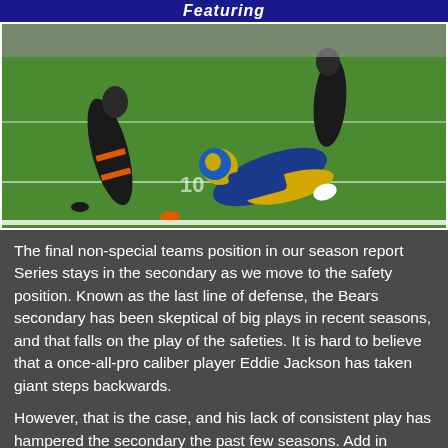Featuring
[Figure (photo): NFL football game action photo showing a Los Angeles Rams player in blue and yellow uniform being tackled, with Chicago Bears players in dark uniforms with orange stripes on the field.]
The final non-special teams position in our season report Series stays in the secondary as we move to the safety position. Known as the last line of defense, the Bears secondary has been skeptical of big plays in recent seasons, and that falls on the play of the safeties. It is hard to believe that a once-all-pro caliber player Eddie Jackson has taken giant steps backwards.
However, that is the case, and his lack of consistent play has hampered the secondary the past few seasons. Add in constant moving parts around him, and it makes it challenging for anyone to get in sync as they tend not to